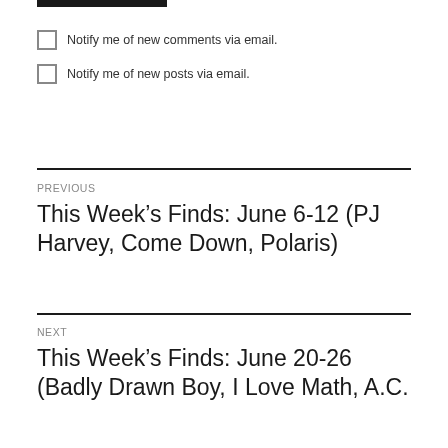[Figure (other): Black horizontal bar at top of page]
Notify me of new comments via email.
Notify me of new posts via email.
PREVIOUS
This Week's Finds: June 6-12 (PJ Harvey, Come Down, Polaris)
NEXT
This Week's Finds: June 20-26 (Badly Drawn Boy, I Love Math, A.C.